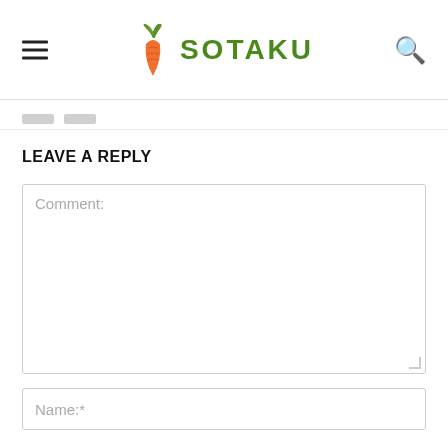SOTAKU
LEAVE A REPLY
Comment:
Name:*
Email:*
Website: